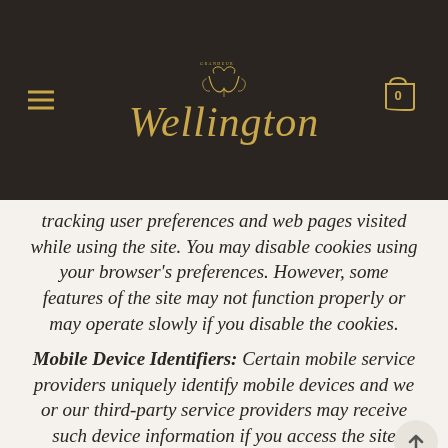Grandeur Wellington — website header with logo and navigation
tracking user preferences and web pages visited while using the site. You may disable cookies using your browser's preferences. However, some features of the site may not function properly or may operate slowly if you disable the cookies. Mobile Device Identifiers: Certain mobile service providers uniquely identify mobile devices and we or our third-party service providers may receive such device information if you access the site through mobile